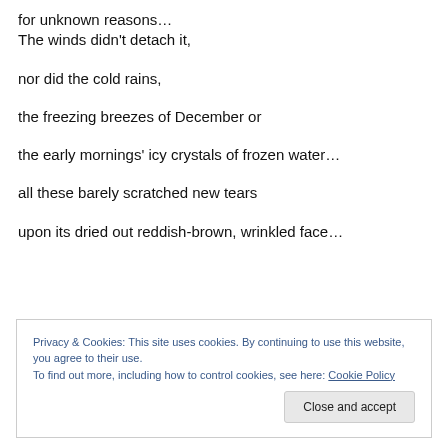for unknown reasons…
The winds didn't detach it,
nor did the cold rains,
the freezing breezes of December or
the early mornings' icy crystals of frozen water…
all these barely scratched new tears
upon its dried out reddish-brown, wrinkled face…
Privacy & Cookies: This site uses cookies. By continuing to use this website, you agree to their use. To find out more, including how to control cookies, see here: Cookie Policy